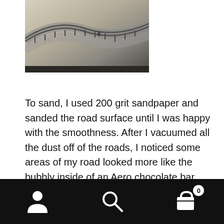[Figure (photo): A model train layout showing curved road/track surfaces with a sandy/concrete texture, viewed from above.]
To sand, I used 200 grit sandpaper and sanded the road surface until I was happy with the smoothness. After I vacuumed all the dust off of the roads, I noticed some areas of my road looked more like the bubbly inside of an Aero chocolate bar then the surface of a road. This was caused from mixing my mixture of Smooth-It too thin when I poured it. If you do mix it too thin, add more Smooth-It and stir until the bubbles disappear, or let it sit for a few minutes, stirring often. To fill the air holes in the road, I simply added a thin layer of Smooth-It overtop,
Navigation bar with user icon, search icon, and cart icon with badge 0